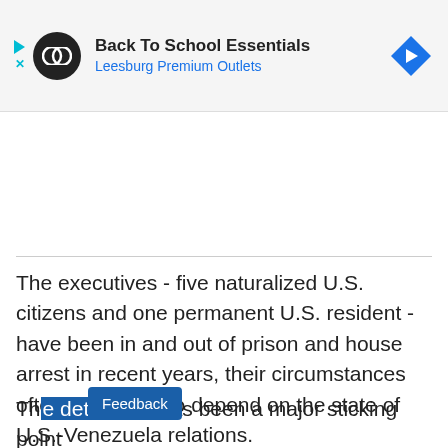[Figure (other): Advertisement banner: Back To School Essentials - Leesburg Premium Outlets with logo and navigation arrow icon]
The executives - five naturalized U.S. citizens and one permanent U.S. resident - have been in and out of prison and house arrest in recent years, their circumstances often appearing to depend on the state of U.S.-Venezuela relations.
Th[e detenti]ion has been a major sticking point